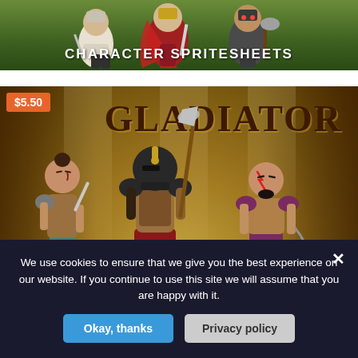[Figure (illustration): Top banner showing medieval warrior character spritesheets on a green grassy background with the text CHARACTER SPRITESHEETS]
[Figure (illustration): Gladiator character pack promotional image showing three cartoon gladiator warriors in an arena setting. Price tag $5.50 in orange top-left. Large GLADIATOR title text top-right. Three warrior characters: left has light armor and dagger, center has full dark helmet and axe, right is bald with war paint and a flail/mace.]
We use cookies to ensure that we give you the best experience on our website. If you continue to use this site we will assume that you are happy with it.